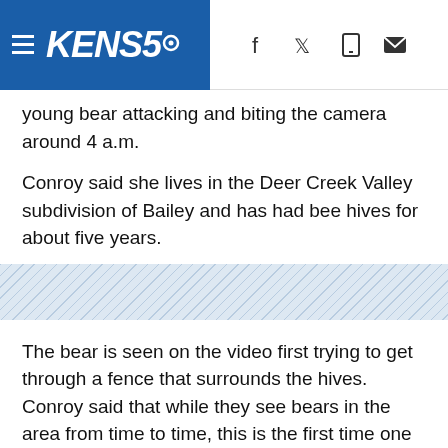KENS5
young bear attacking and biting the camera around 4 a.m.
Conroy said she lives in the Deer Creek Valley subdivision of Bailey and has had bee hives for about five years.
[Figure (other): Decorative diagonal stripe divider]
The bear is seen on the video first trying to get through a fence that surrounds the hives. Conroy said that while they see bears in the area from time to time, this is the first time one has tried to get to the bees.
RELATED: VIDEO: Bear gets trapped in pickup truck in Larkspur
She said the fence is electrified and thinks the bear got zapped, which made it mad. That's when you see it start